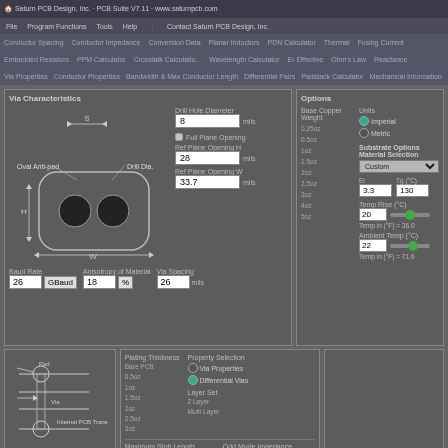Saturn PCB Design, Inc. PCB Suite V7.11 www.saturnpcb.com
Via Characteristics
[Figure (schematic): Oval anti-pad via diagram showing drill hole, S (spacing), H (height), W (width) dimensions with two circular drill holes inside an oval anti-pad shape]
Drill Hole Diameter: 8 mils
Full Plane Opening (checkbox)
Ref Plane Opening H: 28 mils
Ref Plane Opening W: 33.7 mils
Baud Rate: 26 GBaud
Anisotropy of Material: 18 %
Via Spacing: 26 mils
Options
Base Copper Weight
Units: Imperial / Metric
Substrate Options - Material Selection: Custom
Er: 3.3  Tg (°C): 130
Temp Rise (°C): 20
Temp in (°F) = 36.0
Ambient Temp (°C): 22
Temp in (°F) = 71.6
Plating Thickness
Property Selection: Via Properties / Differential Vias
Layer Set
Maximum Stub Length: 14.561 mils
Odd Mode Impedance: 49.953 Ohms
Differential Impedance: 99.906 Ohms